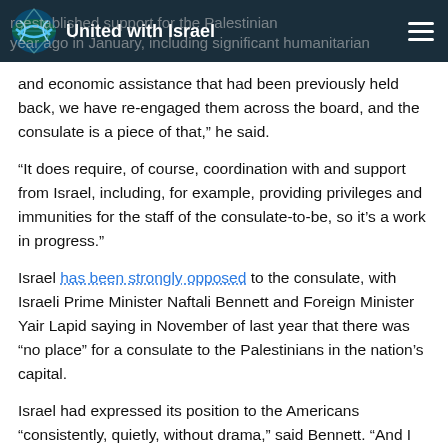United with Israel
and economic assistance that had been previously held back, we have re-engaged them across the board, and the consulate is a piece of that,” he said.
“It does require, of course, coordination with and support from Israel, including, for example, providing privileges and immunities for the staff of the consulate-to-be, so it’s a work in progress.”
Israel has been strongly opposed to the consulate, with Israeli Prime Minister Naftali Bennett and Foreign Minister Yair Lapid saying in November of last year that there was “no place” for a consulate to the Palestinians in the nation’s capital.
Israel had expressed its position to the Americans “consistently, quietly, without drama,” said Bennett. “And I hope it will be understood.”
Jerusalem, said the prime minister, “is the capital of the